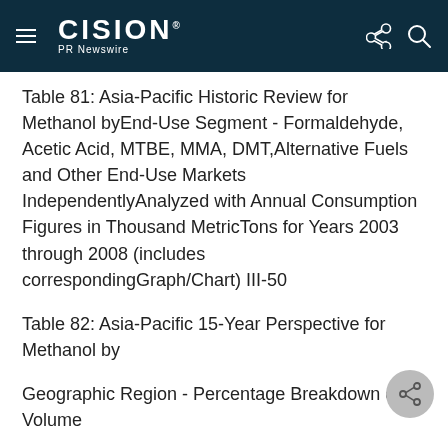CISION PR Newswire
Table 81: Asia-Pacific Historic Review for Methanol byEnd-Use Segment - Formaldehyde, Acetic Acid, MTBE, MMA, DMT,Alternative Fuels and Other End-Use Markets IndependentlyAnalyzed with Annual Consumption Figures in Thousand MetricTons for Years 2003 through 2008 (includes correspondingGraph/Chart) III-50
Table 82: Asia-Pacific 15-Year Perspective for Methanol by
Geographic Region - Percentage Breakdown of Volume